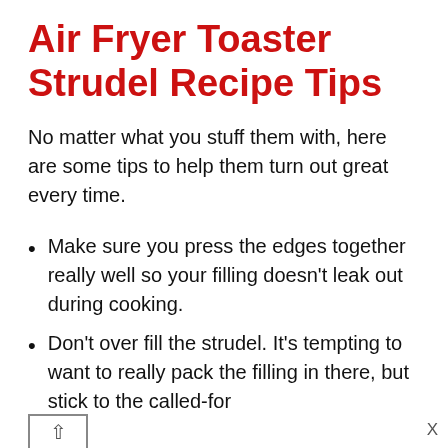Air Fryer Toaster Strudel Recipe Tips
No matter what you stuff them with, here are some tips to help them turn out great every time.
Make sure you press the edges together really well so your filling doesn't leak out during cooking.
Don't over fill the strudel. It's tempting to want to really pack the filling in there, but stick to the called-for